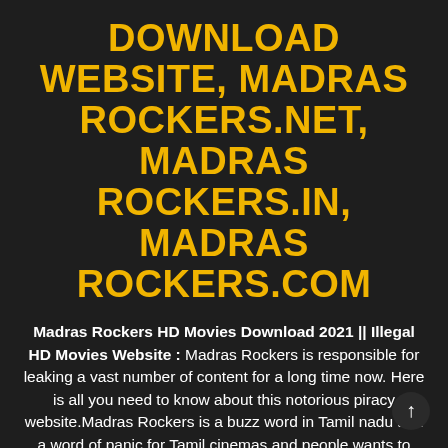DOWNLOAD WEBSITE, MADRAS ROCKERS.NET, MADRAS ROCKERS.IN, MADRAS ROCKERS.COM
Madras Rockers HD Movies Download 2021 || Illegal HD Movies Website : Madras Rockers is responsible for leaking a vast number of content for a long time now. Here is all you need to know about this notorious piracy website.Madras Rockers is a buzz word in Tamil nadu and a word of panic for Tamil cinemas and people wants to know how much money Madras Rockers making, what is the benefit by doing this
MadrasRockers is a piracy illegal public torrent website website that allows its users to download pirated